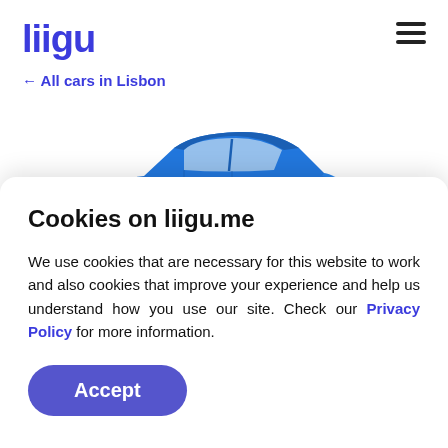liigu
← All cars in Lisbon
[Figure (photo): Blue SUV car photographed from the side against a white background]
Cookies on liigu.me
We use cookies that are necessary for this website to work and also cookies that improve your experience and help us understand how you use our site. Check our Privacy Policy for more information.
Accept